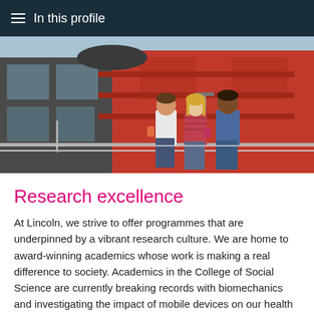In this profile
[Figure (photo): Three students standing and socializing on a balcony in front of a modern building with red cladding and glass facade on a sunny day.]
Research excellence
At Lincoln, we strive to offer programmes that are underpinned by a vibrant research culture. We are home to award-winning academics whose work is making a real difference to society. Academics in the College of Social Science are currently breaking records with biomechanics and investigating the impact of mobile devices on our health and wellbeing.